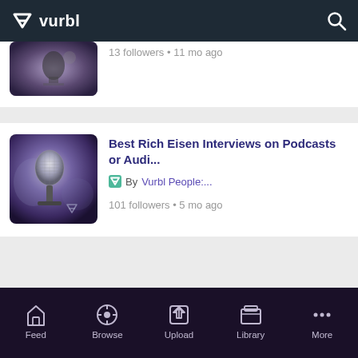vurbl
[Figure (screenshot): Partially visible podcast card with a microphone/music image thumbnail, showing 13 followers • 11 mo ago]
13 followers • 11 mo ago
[Figure (photo): Close-up photo of a microphone with purple/blue tones used as podcast thumbnail]
Best Rich Eisen Interviews on Podcasts or Audi...
By Vurbl People:...
101 followers • 5 mo ago
Feed  Browse  Upload  Library  More